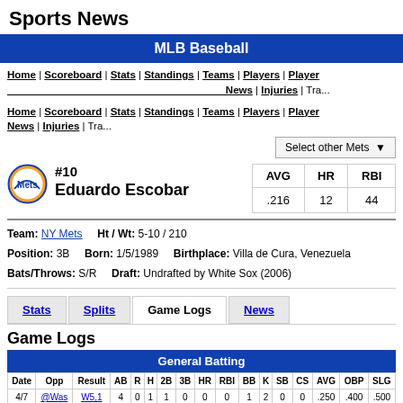Sports News
MLB Baseball
Home | Scoreboard | Stats | Standings | Teams | Players | Player News | Injuries | Tra...
Select other Mets
#10 Eduardo Escobar
| AVG | HR | RBI |
| --- | --- | --- |
| .216 | 12 | 44 |
Team: NY Mets   Ht / Wt: 5-10 / 210
Position: 3B   Born: 1/5/1989   Birthplace: Villa de Cura, Venezuela
Bats/Throws: S/R   Draft: Undrafted by White Sox (2006)
Stats | Splits | Game Logs | News
Game Logs
| Date | Opp | Result | AB | R | H | 2B | 3B | HR | RBI | BB | K | SB | CS | AVG | OBP | SLG |
| --- | --- | --- | --- | --- | --- | --- | --- | --- | --- | --- | --- | --- | --- | --- | --- | --- |
| 4/7 | @Was | W5,1 | 4 | 0 | 1 | 1 | 0 | 0 | 0 | 1 | 2 | 0 | 0 | .250 | .400 | .500 |